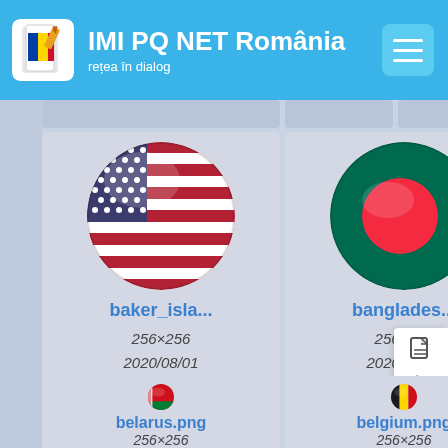IMI PQ NET România — rețea în dialog
[Figure (screenshot): Website screenshot showing a media library grid of country flag icons. Row 1 (partial at top): three partially visible cards. Row 2: baker_isla... (USA flag, 256×256, 2020/08/01 09:12, 63.7 KB), banglades... (Bangladesh flag, 256×256, 2020/08/01 09:12, 50.7 KB), barbad... (partial). Row 3 (partial at bottom): belarus.png (256×256), belgium.png (256×256), beliz... (partial). Right side: icons panel with document, history, link, copy, and arrow-up icons.]